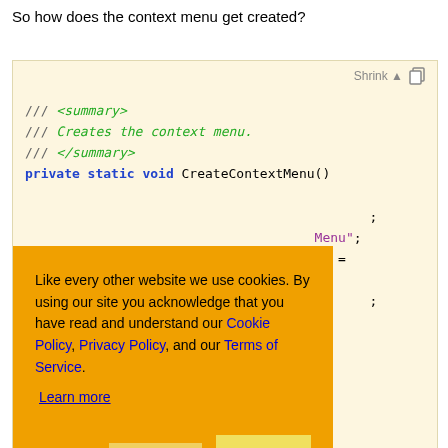So how does the context menu get created?
[Figure (screenshot): Code block showing C# method CreateContextMenu() with XML doc comments (/// <summary> /// Creates the context menu. /// </summary>) and private static void declaration, on a light yellow background with Shrink and copy toolbar controls.]
Like every other website we use cookies. By using our site you acknowledge that you have read and understand our Cookie Policy, Privacy Policy, and our Terms of Service. Learn more
Ask me later  Decline  Allow cookies